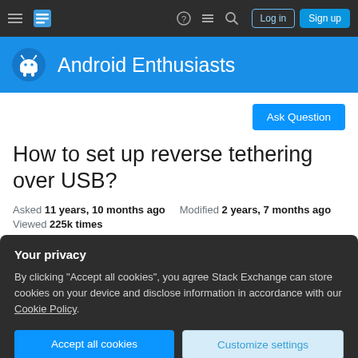Android Enthusiasts Stack Exchange - Navigation bar with Log in and Sign up buttons
Android Enthusiasts
How to set up reverse tethering over USB?
Asked 11 years, 10 months ago  Modified 2 years, 7 months ago
Viewed 225k times
Your privacy
By clicking "Accept all cookies", you agree Stack Exchange can store cookies on your device and disclose information in accordance with our Cookie Policy.
Accept all cookies  Customize settings